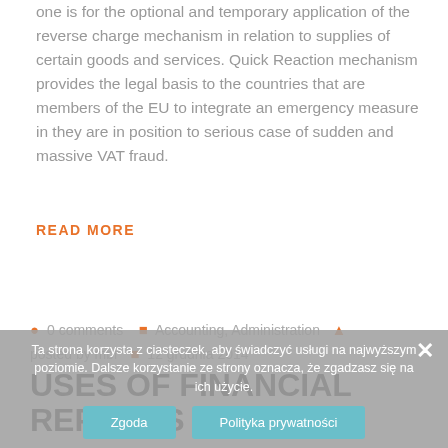one is for the optional and temporary application of the reverse charge mechanism in relation to supplies of certain goods and services. Quick Reaction mechanism provides the legal basis to the countries that are members of the EU to integrate an emergency measure in they are in position to serious case of sudden and massive VAT fraud.
READ MORE
0 comments  Accounting, Administration  posted by mbr  12 grudnia 2014
USES OF FINANCIAL REPORTS
Ta strona korzysta z ciasteczek, aby świadczyć usługi na najwyższym poziomie. Dalsze korzystanie ze strony oznacza, że zgadzasz się na ich użycie.